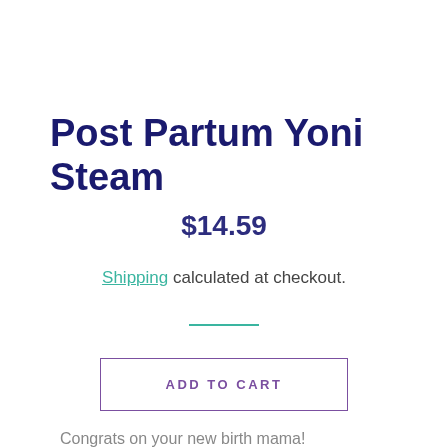Post Partum Yoni Steam
$14.59
Shipping calculated at checkout.
ADD TO CART
Congrats on your new birth mama!